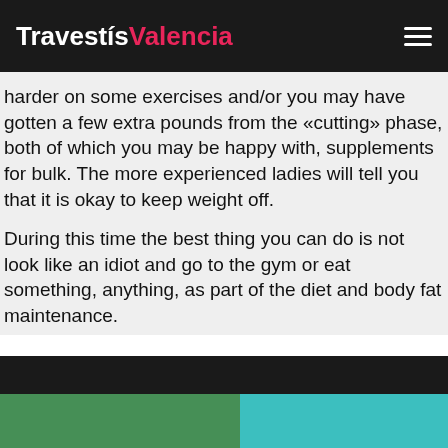TravestísValencia
harder on some exercises and/or you may have gotten a few extra pounds from the «cutting» phase, both of which you may be happy with, supplements for bulk. The more experienced ladies will tell you that it is okay to keep weight off.
During this time the best thing you can do is not look like an idiot and go to the gym or eat something, anything, as part of the diet and body fat maintenance.
[Figure (photo): Partial view of a person or figure against a teal/green background, bottom portion of page]